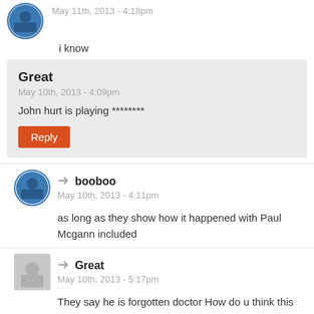May 11th, 2013 - 4:18pm
i know
Great
May 10th, 2013 - 4:09pm
John hurt is playing ********
booboo
May 10th, 2013 - 4:11pm
as long as they show how it happened with Paul Mcgann included
Great
May 10th, 2013 - 5:17pm
They say he is forgotten doctor How do u think this Happened and do u have news on the subject
booboo
May 10th, 2013 - 5:23pm